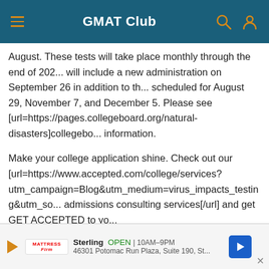GMAT Club
August. These tests will take place monthly through the end of 2020 and will include a new administration on September 26 in addition to the ones scheduled for August 29, November 7, and December 5. Please see [url=https://pages.collegeboard.org/natural-disasters]collegebo... information.
Make your college application shine. Check out our [url=https://www.accepted.com/college/services?utm_campaign=Blog&utm_medium=virus_impacts_testing&utm_so... admissions consulting services[/url] and get GET ACCEPTED to yo...
[url=https://www.ets.org/s/cv/important-update/]TOEFL[/url]
TOEFL iBT Special Home Edition test has been expanded to every...
[Figure (other): Advertisement banner for Mattress Firm, Sterling location, OPEN 10AM-9PM, 46301 Potomac Run Plaza, Suite 190, St... with navigation arrow icon]